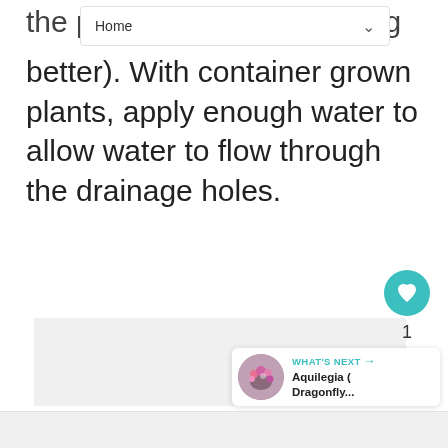Home
the pe...ng better). With container grown plants, apply enough water to allow water to flow through the drainage holes.
[Figure (photo): Large light gray image area placeholder in the middle of the page]
[Figure (infographic): Heart/like button (teal circle with heart icon), count of 1, and share button (white circle with share icon) on the right side]
[Figure (photo): What's Next card with thumbnail of Aquilegia (Dragonfly...) and teal label arrow]
[Figure (photo): Bottom gray strip / partial image area at bottom of page]